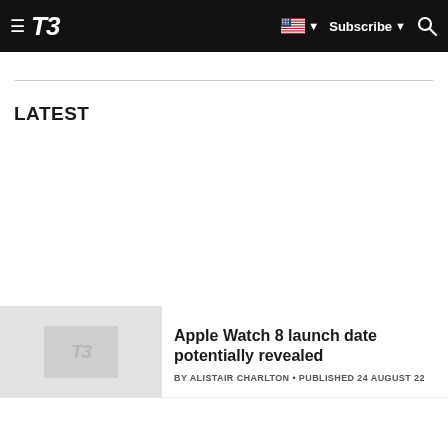T3 — Subscribe
LATEST
[Figure (logo): T3 placeholder thumbnail image with grey background and T3 italic logo watermark]
Apple Watch 8 launch date potentially revealed
BY ALISTAIR CHARLTON • PUBLISHED 24 AUGUST 22